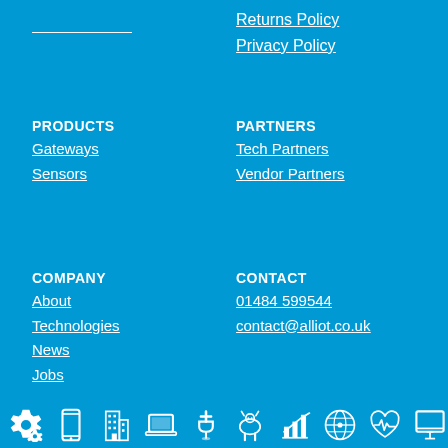Returns Policy
Privacy Policy
PRODUCTS
Gateways
Sensors
PARTNERS
Tech Partners
Vendor Partners
COMPANY
About
Technologies
News
Jobs
CONTACT
01484 599544
contact@alliot.co.uk
[Figure (illustration): Row of white IoT/industry icons on blue background: gear/cog, mobile phone, building, laptop, faucet/water, cow, bar chart, location pin, heartbeat/health, monitor screen]